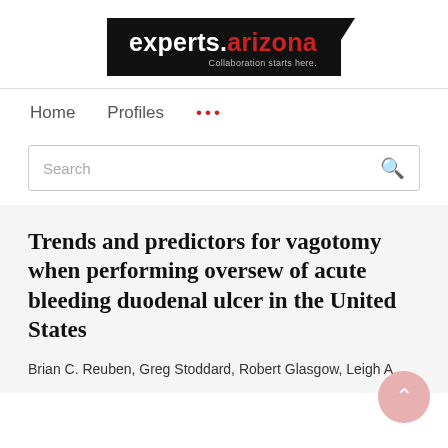[Figure (logo): experts.arizona logo with tagline 'Collaboration starts here.' on black background]
Home   Profiles   ...
Search
Trends and predictors for vagotomy when performing oversew of acute bleeding duodenal ulcer in the United States
Brian C. Reuben, Greg Stoddard, Robert Glasgow, Leigh A.